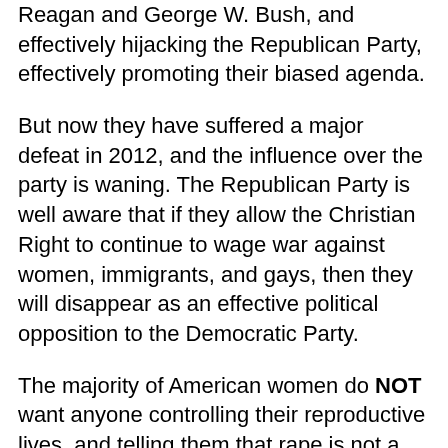Reagan and George W. Bush, and effectively hijacking the Republican Party, effectively promoting their biased agenda.
But now they have suffered a major defeat in 2012, and the influence over the party is waning. The Republican Party is well aware that if they allow the Christian Right to continue to wage war against women, immigrants, and gays, then they will disappear as an effective political opposition to the Democratic Party.
The majority of American women do NOT want anyone controlling their reproductive lives, and telling them that rape is not a reason for abortion.
The majority of immigrants, whether legal or undocumented, do not want minority groups to